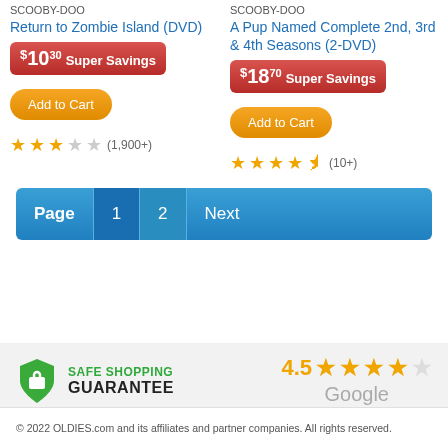SCOOBY-DOO
Return to Zombie Island (DVD)
$10.30 Super Savings
Add to Cart
(1,900+)
SCOOBY-DOO
A Pup Named Complete 2nd, 3rd & 4th Seasons (2-DVD)
$18.70 Super Savings
Add to Cart
(10+)
Page 1 2 Next
[Figure (infographic): Safe Shopping Guarantee badge with green shield icon]
4.5 Google
© 2022 OLDIES.com and its affiliates and partner companies. All rights reserved.